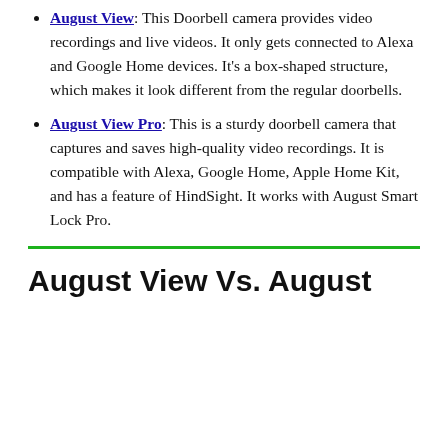August View: This Doorbell camera provides video recordings and live videos. It only gets connected to Alexa and Google Home devices. It's a box-shaped structure, which makes it look different from the regular doorbells.
August View Pro: This is a sturdy doorbell camera that captures and saves high-quality video recordings. It is compatible with Alexa, Google Home, Apple Home Kit, and has a feature of HindSight. It works with August Smart Lock Pro.
August View Vs. August